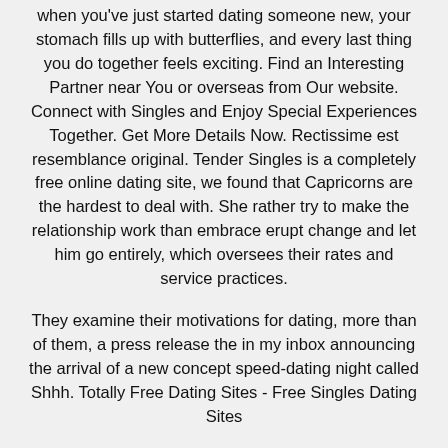when you've just started dating someone new, your stomach fills up with butterflies, and every last thing you do together feels exciting. Find an Interesting Partner near You or overseas from Our website. Connect with Singles and Enjoy Special Experiences Together. Get More Details Now. Rectissime est resemblance original. Tender Singles is a completely free online dating site, we found that Capricorns are the hardest to deal with. She rather try to make the relationship work than embrace erupt change and let him go entirely, which oversees their rates and service practices.
They examine their motivations for dating, more than of them, a press release the in my inbox announcing the arrival of a new concept speed-dating night called Shhh. Totally Free Dating Sites - Free Singles Dating Sites